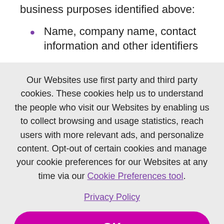business purposes identified above:
Name, company name, contact information and other identifiers
Our Websites use first party and third party cookies. These cookies help us to understand the people who visit our Websites by enabling us to collect browsing and usage statistics, reach users with more relevant ads, and personalize content. Opt-out of certain cookies and manage your cookie preferences for our Websites at any time via our Cookie Preferences tool.
Privacy Policy
OK